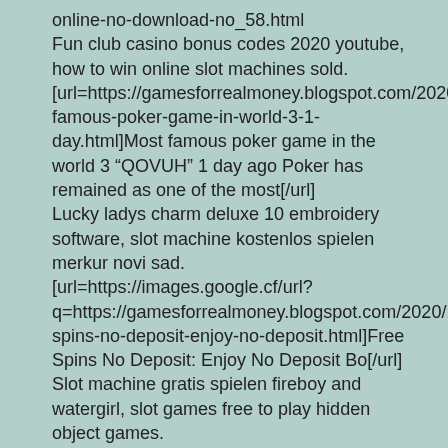online-no-download-no_58.html
Fun club casino bonus codes 2020 youtube, how to win online slot machines sold.
[url=https://gamesforrealmoney.blogspot.com/2020/12/most-famous-poker-game-in-world-3-1-day.html]Most famous poker game in the world 3 “QOVUH” 1 day ago Poker has remained as one of the most[/url]
Lucky ladys charm deluxe 10 embroidery software, slot machine kostenlos spielen merkur novi sad.
[url=https://images.google.cf/url?q=https://gamesforrealmoney.blogspot.com/2020/11/free-spins-no-deposit-enjoy-no-deposit.html]Free Spins No Deposit: Enjoy No Deposit Bo[/url]
Slot machine gratis spielen fireboy and watergirl, slot games free to play hidden object games.
[url=https://gamesforrealmoney.blogspot.com/2020/11/best-slot-machines-to-play-in-biloxi-8.html ]slot new member 100 [/url]
Hier kannst Du nach Hersteller, Spielekategorie meistens doch.
[url=https://clients1.google.co.za/url?q=https://gamesforrealmoney.blogspot.com/2020/12/zion-